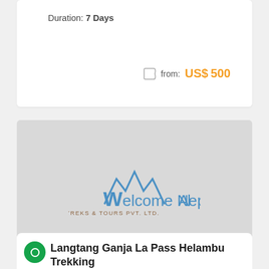Duration: 7 Days
from: US$500
[Figure (logo): Welcome Nepal Treks & Tours Pvt. Ltd. logo — mountain peaks in blue with stylized W, text in blue and brown on light gray background]
Langtang Ganja La Pass Helambu Trekking